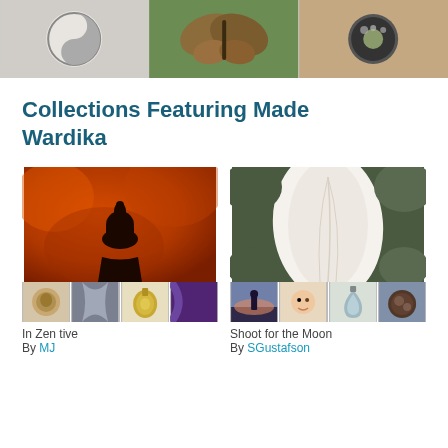[Figure (photo): Three product thumbnail images at the top: a cat/yin-yang pendant, a butterfly made of seeds/spices, and a jeweled brooch/pendant on wood]
Collections Featuring Made Wardika
[Figure (photo): Collection card: 'In Zen tive' - main image of Buddha silhouette against orange background, with 4 small thumbnails below (Buddha bead, draped fabric, gold pendant, purple fabric). By MJ.]
In Zen tive
By MJ
[Figure (photo): Collection card: 'Shoot for the Moon' - main image of white flower petal close-up, with 4 small thumbnails below (silhouette at sunset, baby, teardrop pendant, circular pendant). By SGustafson.]
Shoot for the Moon
By SGustafson